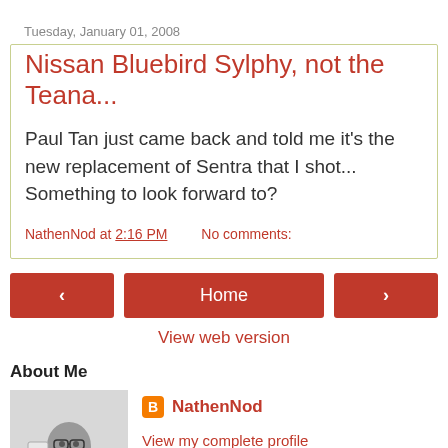Tuesday, January 01, 2008
Nissan Bluebird Sylphy, not the Teana...
Paul Tan just came back and told me it's the new replacement of Sentra that I shot... Something to look forward to?
NathenNod at 2:16 PM    No comments:
< Home > View web version
About Me
[Figure (photo): Black and white profile photo of a person (NathenNod) sitting at a table]
NathenNod
View my complete profile